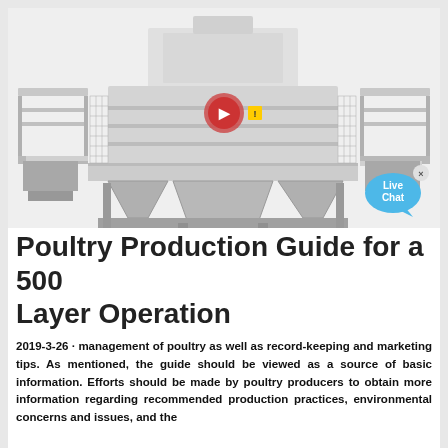[Figure (photo): Large industrial machine (likely a vertical shaft impact crusher or similar heavy equipment), white/grey colored, with multiple levels, platforms, railings, and hopper structures at the bottom. The machine is photographed against a white background.]
Poultry Production Guide for a 500 Layer Operation
2019-3-26 · management of poultry as well as record-keeping and marketing tips. As mentioned, the guide should be viewed as a source of basic information. Efforts should be made by poultry producers to obtain more information regarding recommended production practices, environmental concerns and issues, and the